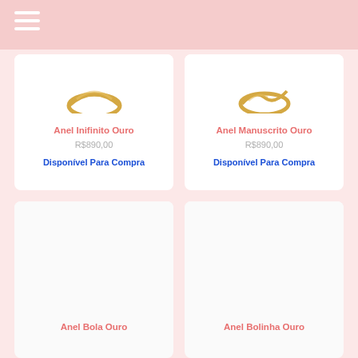[Figure (photo): Product card showing Anel Inifinito Ouro jewelry ring at top, partially cropped]
Anel Inifinito Ouro
R$890,00
Disponível Para Compra
[Figure (photo): Product card showing Anel Manuscrito Ouro jewelry ring at top, partially cropped]
Anel Manuscrito Ouro
R$890,00
Disponível Para Compra
[Figure (photo): Product card for Anel Bola Ouro, image area empty/white]
Anel Bola Ouro
[Figure (photo): Product card for Anel Bolinha Ouro, image area empty/white]
Anel Bolinha Ouro